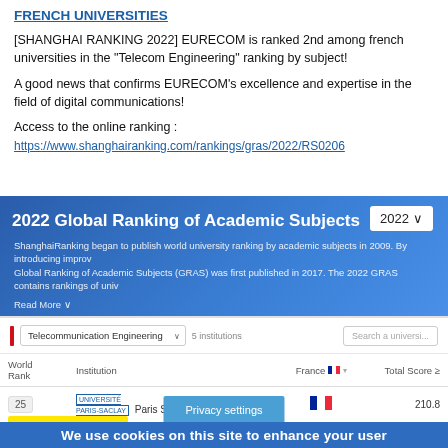FRENCH UNIVERSITIES
[SHANGHAI RANKING 2022] EURECOM is ranked 2nd among french universities in the "Telecom Engineering" ranking by subject!
A good news that confirms EURECOM's excellence and expertise in the field of digital communications!
Access to the online ranking :
https://www.shanghairanking.com/rankings/gras/2022/RS0206
[Figure (screenshot): Screenshot of Shanghai Ranking 2022 Global Ranking of Academic Subjects website showing Telecommunication Engineering category filtered for France. Header shows '2022 Global Ranking of Academic Subjects' with year selector '2022'. Description text about ShanghaiRanking. Filter row shows 'Telecommunication Engineering' dropdown, '5 institutions', France dropdown, and 'Search a university' box. Table header shows World Rank, Institution, France flag, Total Score. First row shows rank 25, Paris Saclay University with French flag, score 210.8. Privacy settings button overlay and cookie consent bar at bottom.]